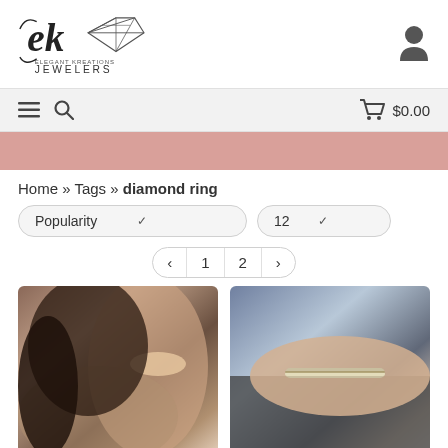[Figure (logo): EK Elegant Kreations Jewelers logo with diamond shape]
[Figure (illustration): User/person icon silhouette]
[Figure (illustration): Hamburger menu icon, search icon, cart icon with $0.00]
[Figure (illustration): Pink/mauve decorative banner strip]
Home » Tags » diamond ring
[Figure (illustration): Popularity dropdown selector and 12 per page dropdown selector]
[Figure (illustration): Pagination controls: < 1 2 >]
[Figure (photo): Woman smiling wearing diamond earrings, dark hair, tattoo on chest]
[Figure (photo): Close-up of a hand wearing a diamond ring band on a dark surface]